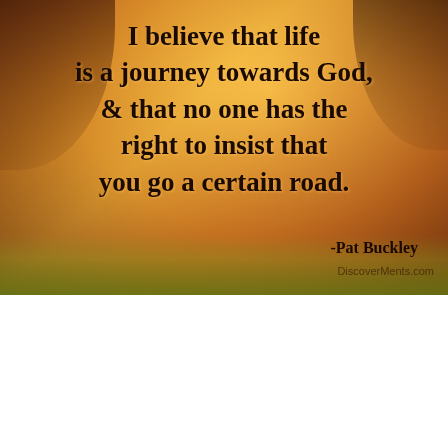[Figure (illustration): Tropical/nature background with warm golden-orange tones, palm trees at top corners, green grass at bottom. Text overlay quote by Pat Buckley.]
I believe that life is a journey towards God, & that no one has the right to insist that you go a certain road. -Pat Buckley
[Figure (screenshot): Dark background inspirational quote image with social sharing toolbar (Pinterest, Facebook, helpful/non helpful buttons) at top. Large white bold text reads: THE BEST OF IT IS, GOD IS WITH]
THE BEST OF IT IS. GOD IS WITH